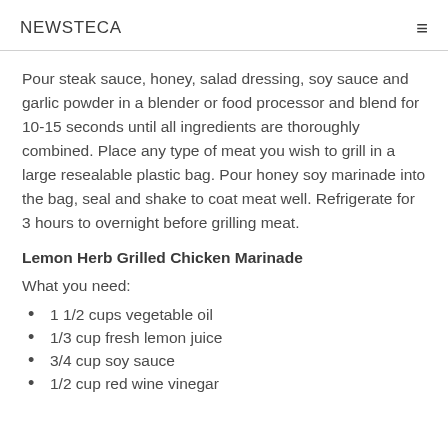NEWSTECA
Pour steak sauce, honey, salad dressing, soy sauce and garlic powder in a blender or food processor and blend for 10-15 seconds until all ingredients are thoroughly combined. Place any type of meat you wish to grill in a large resealable plastic bag. Pour honey soy marinade into the bag, seal and shake to coat meat well. Refrigerate for 3 hours to overnight before grilling meat.
Lemon Herb Grilled Chicken Marinade
What you need:
1 1/2 cups vegetable oil
1/3 cup fresh lemon juice
3/4 cup soy sauce
1/2 cup red wine vinegar